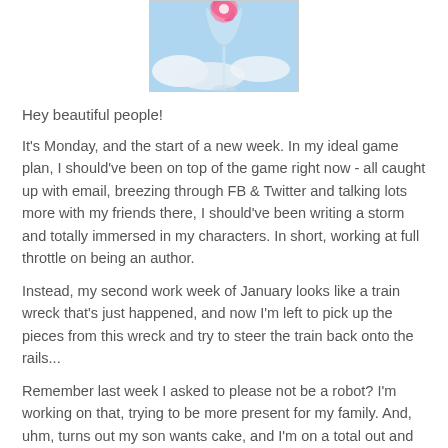[Figure (photo): A decorative photo showing a pink flower (possibly cherry blossom) against a blue sky with clouds, with a glass or crystal element in the foreground.]
Hey beautiful people!
It's Monday, and the start of a new week. In my ideal game plan, I should've been on top of the game right now - all caught up with email, breezing through FB & Twitter and talking lots more with my friends there, I should've been writing a storm and totally immersed in my characters. In short, working at full throttle on being an author.
Instead, my second work week of January looks like a train wreck that's just happened, and now I'm left to pick up the pieces from this wreck and try to steer the train back onto the rails...
Remember last week I asked to please not be a robot? I'm working on that, trying to be more present for my family. And, uhm, turns out my son wants cake, and I'm on a total out and out war against processed food (more about that next